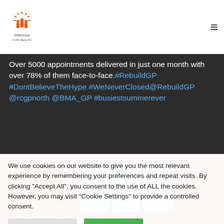Wilmslow For Health
Over 5000 appointments delivered in just one month with over 78% of them face-to-face. #RebuildGP #DontBelieveTheHype #WeNeverClosed @RebuildGP @rcgpnorth @BMA_GP #busiestsummerever
[Figure (photo): Exterior brick wall of a building with a metal-framed window with multiple panes]
We use cookies on our website to give you the most relevant experience by remembering your preferences and repeat visits. By clicking "Accept All", you consent to the use of ALL the cookies. However, you may visit "Cookie Settings" to provide a controlled consent.